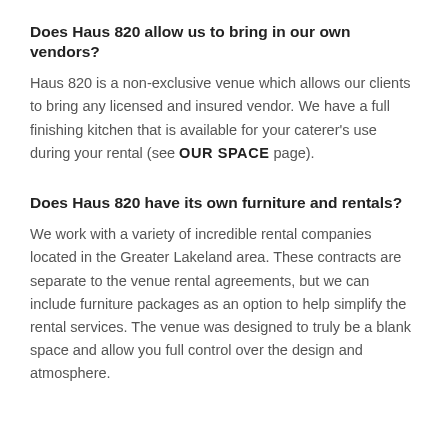Does Haus 820 allow us to bring in our own vendors?
Haus 820 is a non-exclusive venue which allows our clients to bring any licensed and insured vendor. We have a full finishing kitchen that is available for your caterer’s use during your rental (see OUR SPACE page).
Does Haus 820 have its own furniture and rentals?
We work with a variety of incredible rental companies located in the Greater Lakeland area. These contracts are separate to the venue rental agreements, but we can include furniture packages as an option to help simplify the rental services. The venue was designed to truly be a blank space and allow you full control over the design and atmosphere.